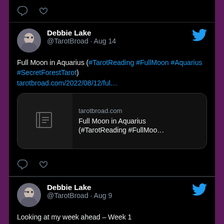[Figure (screenshot): Twitter/social media feed screenshot showing two tweets by Debbie Lake (@TarotBroad). First tweet dated Aug 14 about Full Moon in Aquarius with hashtags #TarotReading #FullMoon #Aquarius #SecretForestTarot and a link card for tarotbroad.com. Second tweet dated Aug 9 about 'Looking at my week ahead – Week 1' with hashtags #TarotReading #SecretForestTarot #52WeekProject.]